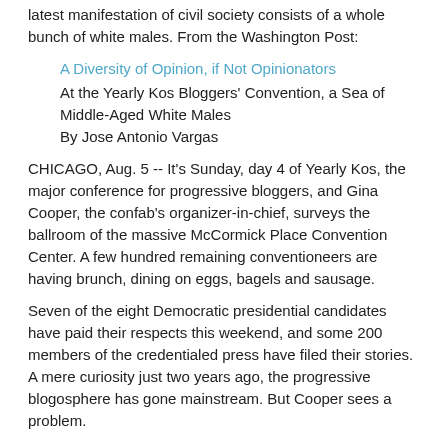latest manifestation of civil society consists of a whole bunch of white males. From the Washington Post:
A Diversity of Opinion, if Not Opinionators
At the Yearly Kos Bloggers' Convention, a Sea of Middle-Aged White Males
By Jose Antonio Vargas
CHICAGO, Aug. 5 -- It's Sunday, day 4 of Yearly Kos, the major conference for progressive bloggers, and Gina Cooper, the confab's organizer-in-chief, surveys the ballroom of the massive McCormick Place Convention Center. A few hundred remaining conventioneers are having brunch, dining on eggs, bagels and sausage.
Seven of the eight Democratic presidential candidates have paid their respects this weekend, and some 200 members of the credentialed press have filed their stories. A mere curiosity just two years ago, the progressive blogosphere has gone mainstream. But Cooper sees a problem.